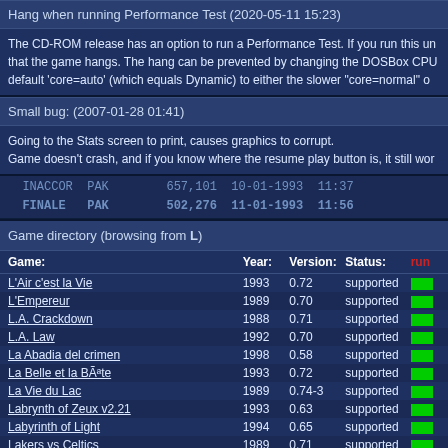Hang when running Performance Test (2020-05-11 15:23)
The CD-ROM release has an option to run a Performance Test. If you run this under DOSBox, you may find that the game hangs. The hang can be prevented by changing the DOSBox CPU core setting from the default 'core=auto' (which equals Dynamic) to either the slower "core=normal" or...
Small bug: (2007-01-28 01:41)
Going to the Stats screen to print, causes graphics to corrupt.
Game doesn't crash, and if you know where the resume play button is, it still wor...
INACCOR  PAK  657,101 10-01-1993 11:37
FINALE   PAK  502,276 11-01-1993 11:56
Game directory (browsing from L)
| Game: | Year: | Version: | Status: | run |
| --- | --- | --- | --- | --- |
| L'Air c'est la Vie | 1993 | 0.72 | supported |  |
| L'Empereur | 1989 | 0.70 | supported |  |
| L.A. Crackdown | 1988 | 0.71 | supported |  |
| L.A. Law | 1992 | 0.70 | supported |  |
| La Abadia del crimen | 1998 | 0.58 | supported |  |
| La Belle et la BÃªte | 1993 | 0.72 | supported |  |
| La Vie du Lac | 1989 | 0.74-3 | supported |  |
| Labrynth of Zeux v2.21 | 1993 | 0.63 | supported |  |
| Labyrinth of Light | 1994 | 0.65 | supported |  |
| Lakers vs Celtics | 1989 | 0.71 | supported |  |
| Lakers3 | 1996 | 0.71 | supported |  |
| Lamborghini American Challenge | 1992 | 0.63 | supported |  |
| Lame Duke (Duke Nukem 3D Beta) | 1994 | 0.71 | supported |  |
| Lamers | 1992 | 0.74-3 | supported |  |
| Lancelot | 1988 | 0.65 | supported |  |
| Lands of Lore | 1993 | 0.74-3 | supported |  |
| Lands Of Lore - TOC CD-ROM version | 1993 | 0.74-3 | supported |  |